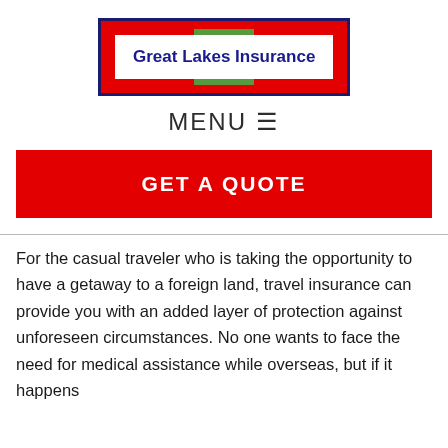[Figure (logo): Great Lakes Insurance logo: red background with dark blue border, green decorative elements top and bottom, white inner box with bold blue text 'Great Lakes Insurance']
MENU ☰
GET A QUOTE
For the casual traveler who is taking the opportunity to have a getaway to a foreign land, travel insurance can provide you with an added layer of protection against unforeseen circumstances. No one wants to face the need for medical assistance while overseas, but if it happens